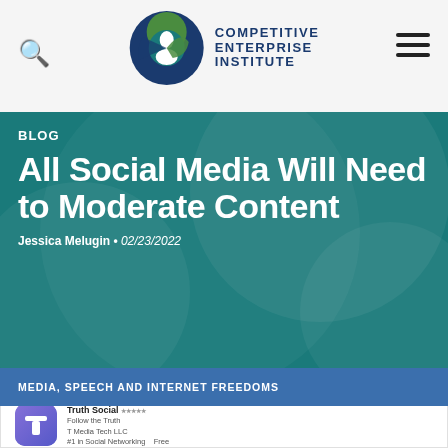Competitive Enterprise Institute — navigation header with search and menu icons
BLOG
All Social Media Will Need to Moderate Content
Jessica Melugin • 02/23/2022
MEDIA, SPEECH AND INTERNET FREEDOMS
[Figure (screenshot): Truth Social app store listing showing app icon, name 'Truth Social', tagline 'Follow the Truth', developer 'T Media Tech LLC', category '#1 in Social Networking', price 'Free']